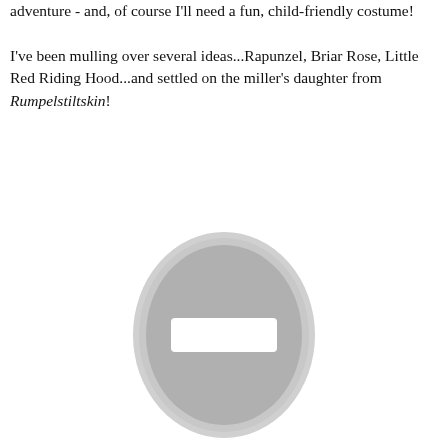adventure - and, of course I'll need a fun, child-friendly costume! I've been mulling over several ideas...Rapunzel, Briar Rose, Little Red Riding Hood...and settled on the miller's daughter from Rumpelstiltskin!
[Figure (illustration): A placeholder image icon: a grey oval shape with a white rectangle in the center, outlined with a light grey border, representing a missing or unavailable image.]